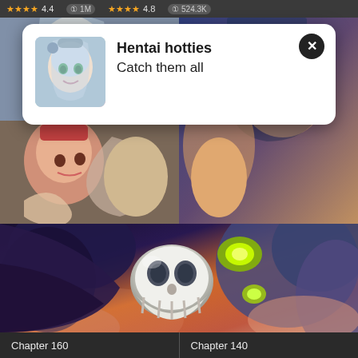★★★★ 4.4   1M   ★★★★ 4.8   524.3K
[Figure (screenshot): Notification popup overlay on manga reader app showing 'Hentai hotties - Catch them all' with anime character thumbnail and X close button]
Hentai hotties
Catch them all
[Figure (illustration): Anime/manga style illustrations in a 2x2 grid layout - top left shows anime girl with white hair and cat hood, top right shows two anime characters, large bottom image shows dark monster/skull character with glowing green eyes]
Chapter 160
Chapter 140